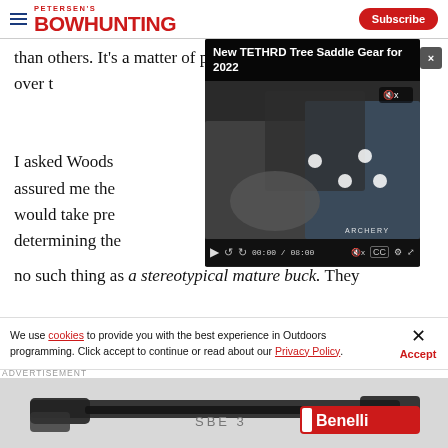Petersen's Bowhunting | Subscribe
than others. It's a matter of personality, which develops over t...
[Figure (screenshot): Embedded video player showing 'New TETHRD Tree Saddle Gear for 2022' with video controls showing 00:00 / 08:00]
I asked Woods assured me the would take pre determining the no such thing as a stereotypical mature buck. They
We use cookies to provide you with the best experience in Outdoors programming. Click accept to continue or read about our Privacy Policy.
Advertisement
[Figure (photo): Benelli SBE3 shotgun advertisement banner]